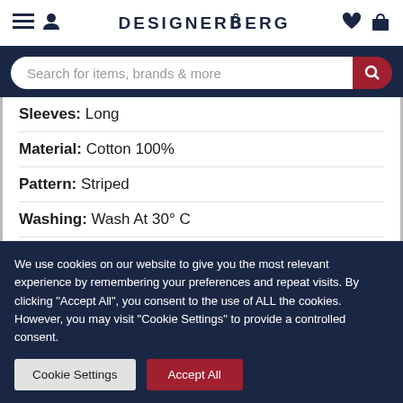DESIGNERBERG
Search for items, brands & more
Sleeves: Long
Material: Cotton 100%
Pattern: Striped
Washing: Wash At 30° C
Model Height, Cm: 185
Model Wears A Size: L
We use cookies on our website to give you the most relevant experience by remembering your preferences and repeat visits. By clicking "Accept All", you consent to the use of ALL the cookies. However, you may visit "Cookie Settings" to provide a controlled consent.
Cookie Settings | Accept All